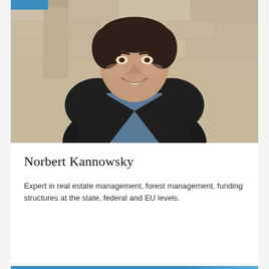[Figure (photo): Portrait photo of Norbert Kannowsky, a middle-aged man with short dark hair, wearing a dark blazer and blue shirt, smiling in front of a stone wall background.]
Norbert Kannowsky
Expert in real estate management, forest management, funding structures at the state, federal and EU levels.